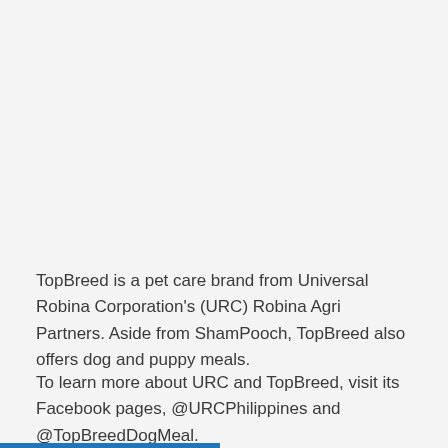TopBreed is a pet care brand from Universal Robina Corporation's (URC) Robina Agri Partners. Aside from ShamPooch, TopBreed also offers dog and puppy meals.
To learn more about URC and TopBreed, visit its Facebook pages, @URCPhilippines and @TopBreedDogMeal.